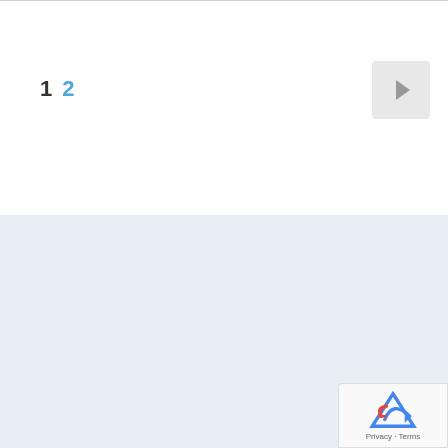1  2  >
Seyens
> Dr. Jernej Zupanc
> Our Webinars
> Our Workshops